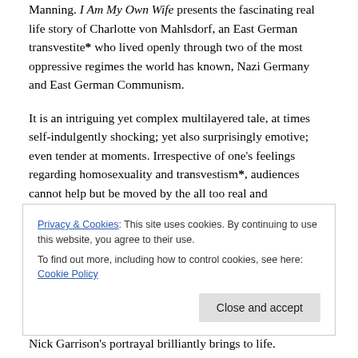Manning. I Am My Own Wife presents the fascinating real life story of Charlotte von Mahlsdorf, an East German transvestite* who lived openly through two of the most oppressive regimes the world has known, Nazi Germany and East German Communism.
It is an intriguing yet complex multilayered tale, at times self-indulgently shocking; yet also surprisingly emotive; even tender at moments. Irrespective of one's feelings regarding homosexuality and transvestism*, audiences cannot help but be moved by the all too real and fundamentally human plight of Charlotte von Mahlsdorf as
Privacy & Cookies: This site uses cookies. By continuing to use this website, you agree to their use.
To find out more, including how to control cookies, see here: Cookie Policy
Nick Garrison's portrayal brilliantly brings to life.